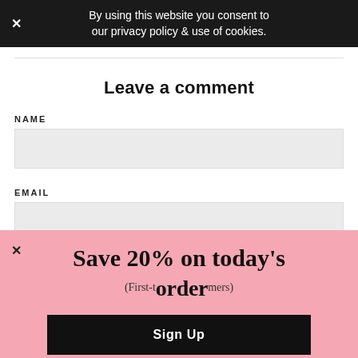By using this website you consent to our privacy policy & use of cookies.
Leave a comment
NAME
EMAIL
Save 20% on today's order (First-time customers)
Sign Up